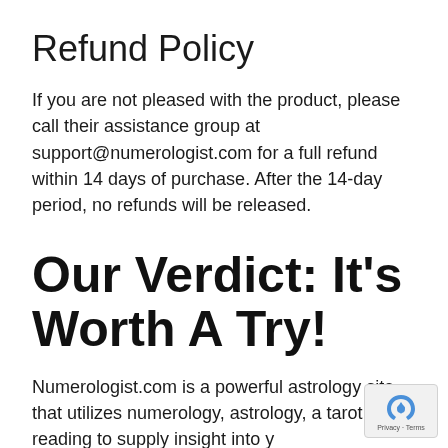Refund Policy
If you are not pleased with the product, please call their assistance group at support@numerologist.com for a full refund within 14 days of purchase. After the 14-day period, no refunds will be released.
Our Verdict: It's Worth A Try!
Numerologist.com is a powerful astrology site that utilizes numerology, astrology, and tarot card reading to supply insight into your...